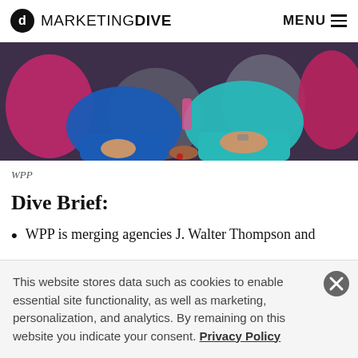MARKETING DIVE  MENU
[Figure (photo): Two women sitting on a sofa with colorful pillows, one in blue and one in teal outfit]
WPP
Dive Brief:
WPP is merging agencies J. Walter Thompson and
This website stores data such as cookies to enable essential site functionality, as well as marketing, personalization, and analytics. By remaining on this website you indicate your consent. Privacy Policy